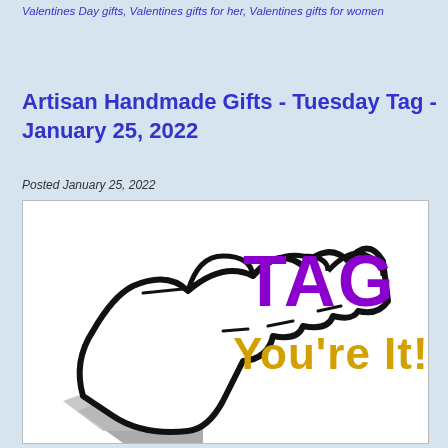Valentines Day gifts, Valentines gifts for her, Valentines gifts for women
Artisan Handmade Gifts - Tuesday Tag - January 25, 2022
Posted January 25, 2022
[Figure (illustration): Cartoon hand pointing finger with text TAG in purple and You're It! in yellow/gold on white background]